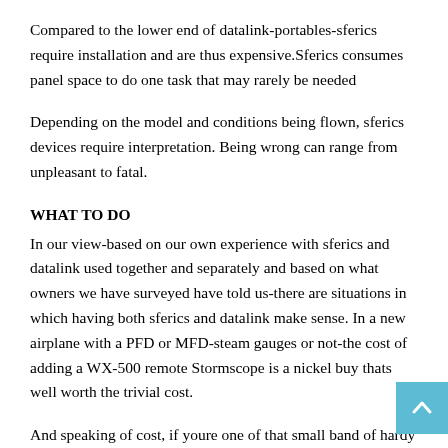Compared to the lower end of datalink-portables-sferics require installation and are thus expensive.Sferics consumes panel space to do one task that may rarely be needed
Depending on the model and conditions being flown, sferics devices require interpretation. Being wrong can range from unpleasant to fatal.
WHAT TO DO
In our view-based on our own experience with sferics and datalink used together and separately and based on what owners we have surveyed have told us-there are situations in which having both sferics and datalink make sense. In a new airplane with a PFD or MFD-steam gauges or not-the cost of adding a WX-500 remote Stormscope is a nickel buy thats well worth the trivial cost.
And speaking of cost, if youre one of that small band of hardy owners to whom a $6000 to $8000 avionics upgrade is chump change and you fly